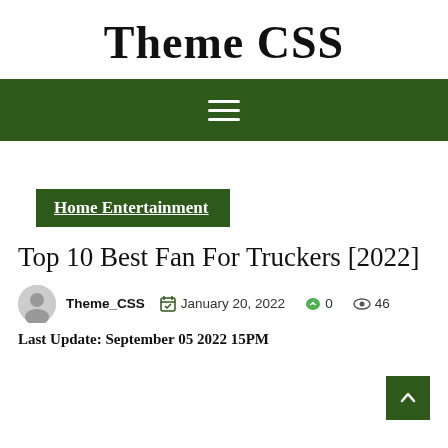Theme CSS
[Figure (other): Dark green navigation bar with hamburger menu icon (three white horizontal lines)]
Home Entertainment
Top 10 Best Fan For Truckers [2022]
Theme_CSS  January 20, 2022  0  46
Last Update: September 05 2022 15PM